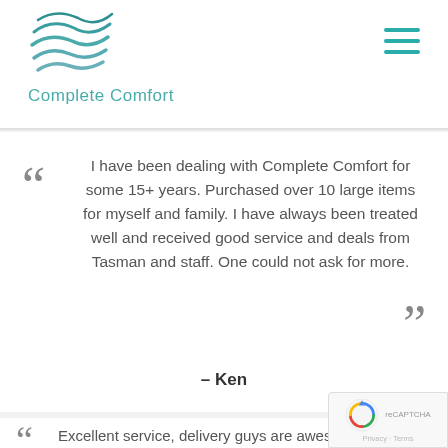Complete Comfort
I have been dealing with Complete Comfort for some 15+ years. Purchased over 10 large items for myself and family. I have always been treated well and received good service and deals from Tasman and staff. One could not ask for more.
– Ken
Excellent service, delivery guys are awesome,